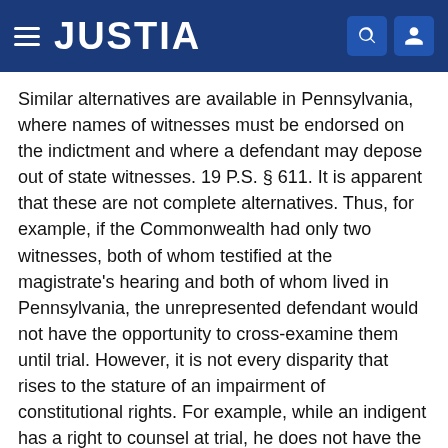JUSTIA
Similar alternatives are available in Pennsylvania, where names of witnesses must be endorsed on the indictment and where a defendant may depose out of state witnesses. 19 P.S. § 611. It is apparent that these are not complete alternatives. Thus, for example, if the Commonwealth had only two witnesses, both of whom testified at the magistrate's hearing and both of whom lived in Pennsylvania, the unrepresented defendant would not have the opportunity to cross-examine them until trial. However, it is not every disparity that rises to the stature of an impairment of constitutional rights. For example, while an indigent has a right to counsel at trial, he does not have the constitutional right to say who his counsel is to be.
The disparity here involved between the indigent without counsel and the non-indigent with counsel